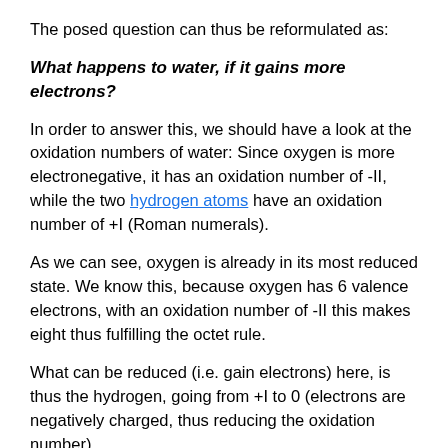The posed question can thus be reformulated as:
What happens to water, if it gains more electrons?
In order to answer this, we should have a look at the oxidation numbers of water: Since oxygen is more electronegative, it has an oxidation number of -II, while the two hydrogen atoms have an oxidation number of +I (Roman numerals).
As we can see, oxygen is already in its most reduced state. We know this, because oxygen has 6 valence electrons, with an oxidation number of -II this makes eight thus fulfilling the octet rule.
What can be reduced (i.e. gain electrons) here, is thus the hydrogen, going from +I to 0 (electrons are negatively charged, thus reducing the oxidation number).
Hydrogen with an oxidation number of 0 is the hydrogen molecule $\ce{H2}$. In $\ce{OH-}$, both atoms still have the